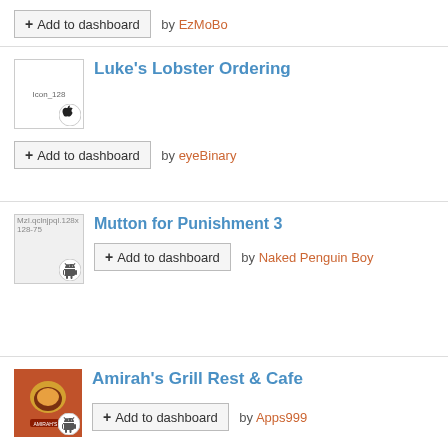+ Add to dashboard by EzMoBo
Luke's Lobster Ordering — + Add to dashboard by eyeBinary
Mutton for Punishment 3 — + Add to dashboard by Naked Penguin Boy
Amirah's Grill Rest & Cafe — + Add to dashboard by Apps999